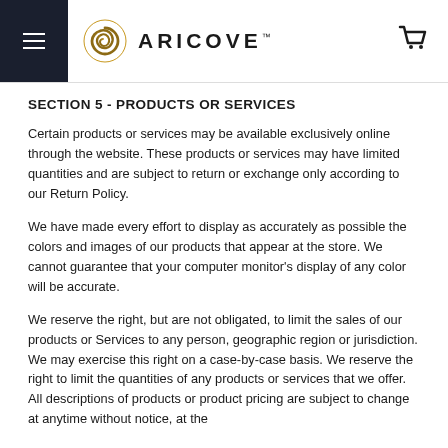ARICOVE — website header with hamburger menu and cart icon
SECTION 5 - PRODUCTS OR SERVICES
Certain products or services may be available exclusively online through the website. These products or services may have limited quantities and are subject to return or exchange only according to our Return Policy.
We have made every effort to display as accurately as possible the colors and images of our products that appear at the store. We cannot guarantee that your computer monitor's display of any color will be accurate.
We reserve the right, but are not obligated, to limit the sales of our products or Services to any person, geographic region or jurisdiction. We may exercise this right on a case-by-case basis. We reserve the right to limit the quantities of any products or services that we offer. All descriptions of products or product pricing are subject to change at anytime without notice, at the